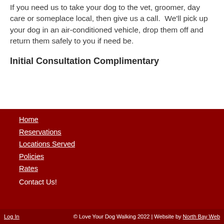If you need us to take your dog to the vet, groomer, day care or someplace local, then give us a call.  We'll pick up your dog in an air-conditioned vehicle, drop them off and return them safely to you if need be.
Initial Consultation Complimentary
Home
Reservations
Locations Served
Policies
Rates
Contact Us!
© Love Your Dog Walking 2022 | Website by North Bay Web